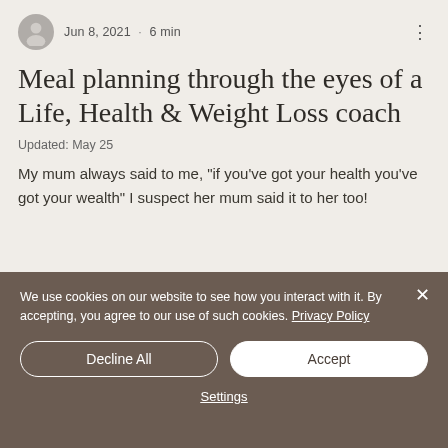Jun 8, 2021 · 6 min
Meal planning through the eyes of a Life, Health & Weight Loss coach
Updated: May 25
My mum always said to me, "if you've got your health you've got your wealth" I suspect her mum said it to her too!
We use cookies on our website to see how you interact with it. By accepting, you agree to our use of such cookies. Privacy Policy
Decline All
Accept
Settings